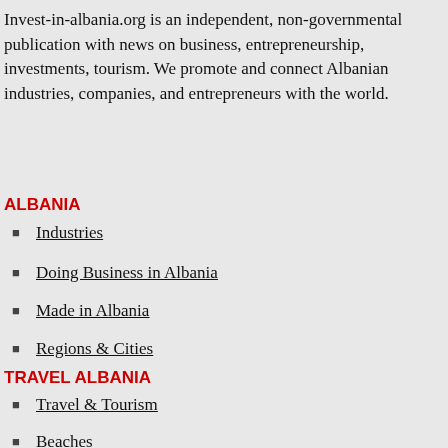Invest-in-albania.org is an independent, non-governmental publication with news on business, entrepreneurship, investments, tourism. We promote and connect Albanian industries, companies, and entrepreneurs with the world.
ALBANIA
Industries
Doing Business in Albania
Made in Albania
Regions & Cities
TRAVEL ALBANIA
Travel & Tourism
Beaches